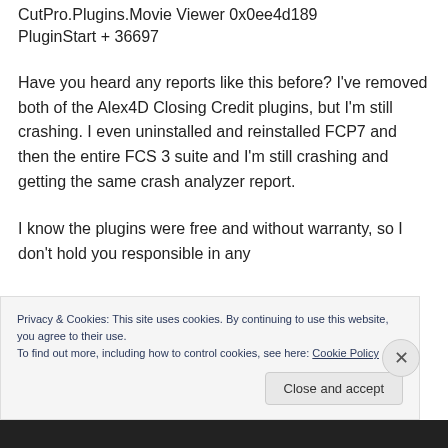CutPro.Plugins.Movie Viewer 0x0ee4d189 PluginStart + 36697
Have you heard any reports like this before? I've removed both of the Alex4D Closing Credit plugins, but I'm still crashing. I even uninstalled and reinstalled FCP7 and then the entire FCS 3 suite and I'm still crashing and getting the same crash analyzer report.
I know the plugins were free and without warranty, so I don't hold you responsible in any
Privacy & Cookies: This site uses cookies. By continuing to use this website, you agree to their use.
To find out more, including how to control cookies, see here: Cookie Policy
Close and accept